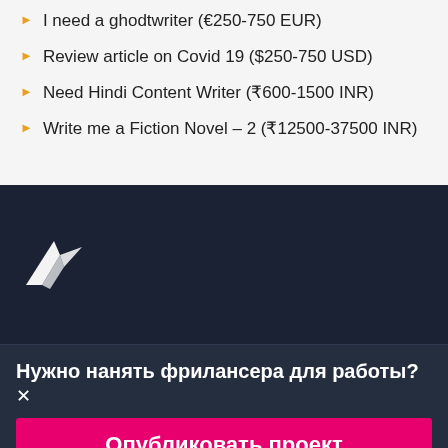I need a ghodtwriter (€250-750 EUR)
Review article on Covid 19 ($250-750 USD)
Need Hindi Content Writer (₹600-1500 INR)
Write me a Fiction Novel – 2 (₹12500-37500 INR)
[Figure (logo): Freelancer hummingbird logo in white on dark navy background]
Нужно нанять фрилансера для работы?✕
Опубликовать проект